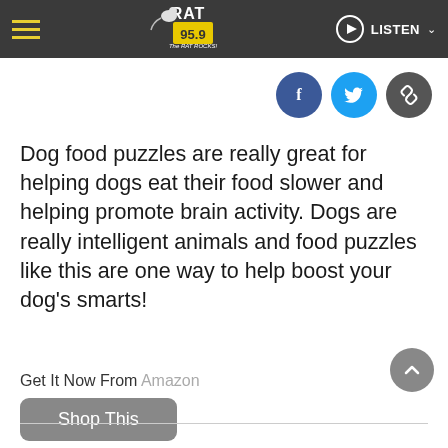RAT 95.9 The RAT ROCKS! — LISTEN
[Figure (other): Social share icons: Facebook (blue circle with f), Twitter (cyan circle with bird), Link/copy (dark grey circle with chain icon)]
Dog food puzzles are really great for helping dogs eat their food slower and helping promote brain activity. Dogs are really intelligent animals and food puzzles like this are one way to help boost your dog's smarts!
Get It Now From Amazon
Shop This